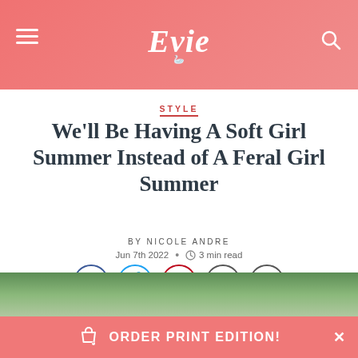Evie
STYLE
We'll Be Having A Soft Girl Summer Instead of A Feral Girl Summer
BY NICOLE ANDRE
Jun 7th 2022 • 3 min read
[Figure (infographic): Social sharing icons: Facebook, Twitter, Pinterest, Share/Send, Copy]
[Figure (photo): Partial photo of women outdoors with green trees in background]
ORDER PRINT EDITION!